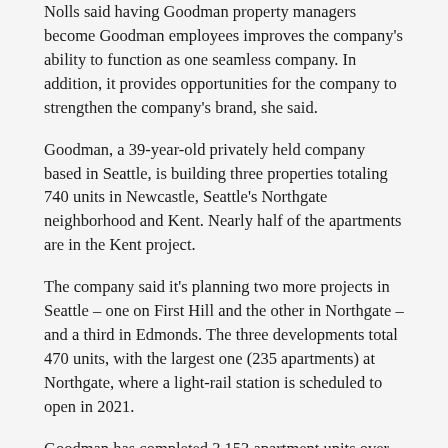Nolls said having Goodman property managers become Goodman employees improves the company’s ability to function as one seamless company. In addition, it provides opportunities for the company to strengthen the company’s brand, she said.
Goodman, a 39-year-old privately held company based in Seattle, is building three properties totaling 740 units in Newcastle, Seattle’s Northgate neighborhood and Kent. Nearly half of the apartments are in the Kent project.
The company said it’s planning two more projects in Seattle – one on First Hill and the other in Northgate – and a third in Edmonds. The three developments total 470 units, with the largest one (235 apartments) at Northgate, where a light-rail station is scheduled to open in 2021.
Goodman has completed 3,153 apartment units over the last five years, with four-fifths of them in Washington state.